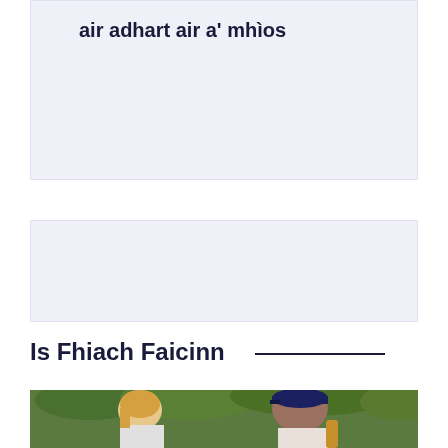air adhart air a' mhìos
Is Fhiach Faicinn
[Figure (photo): Two people face each other in an outdoor jungle/forest setting — a blonde woman on the left looking surprised, and a large bald man wearing a cap on the right, appearing to speak to her. Green foliage in background.]